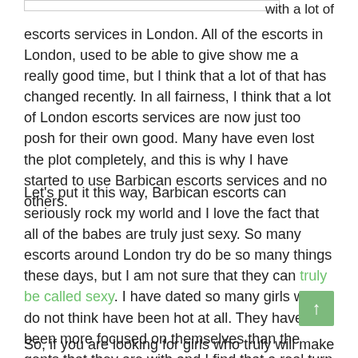with a lot of escorts services in London. All of the escorts in London, used to be able to give show me a really good time, but I think that a lot of that has changed recently. In all fairness, I think that a lot of London escorts services are now just too posh for their own good. Many have even lost the plot completely, and this is why I have started to use Barbican escorts services and no others.
Let's put it this way, Barbican escorts can seriously rock my world and I love the fact that all of the babes are truly just sexy. So many escorts around London try do be so many things these days, but I am not sure that they can truly be called sexy. I have dated so many girls who I do not think have been hot at all. They have been more focused on themselves than the gents that they are with and I find that a real turn off. The girls at Barbican are different, they focus on you, and you only.
So, if you are looking for girls who truly will make sure that